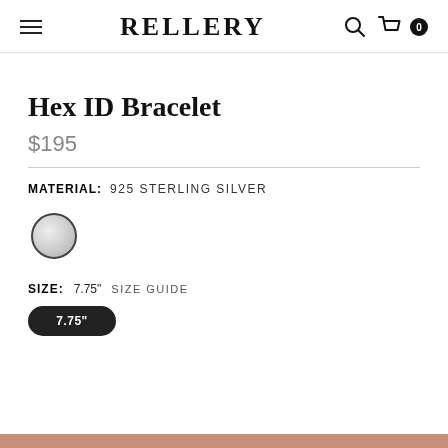RELLERY
Hex ID Bracelet
$195
MATERIAL:  925 STERLING SILVER
[Figure (illustration): Silver/grey color swatch circle with dark border indicating selected material color]
SIZE:  7.75"  SIZE GUIDE
7.75"